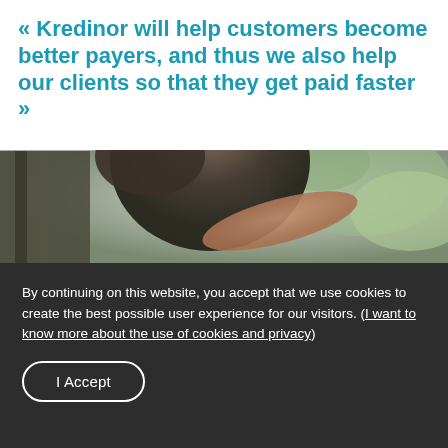« Kredinor will help customers become better payers, and thus we also help our clients so that they get paid faster »
[Figure (photo): A person in a dark shirt reaching forward, photographed outdoors with blurred greenery in the background.]
By continuing on this website, you accept that we use cookies to create the best possible user experience for our visitors. (I want to know more about the use of cookies and privacy)
I Accept